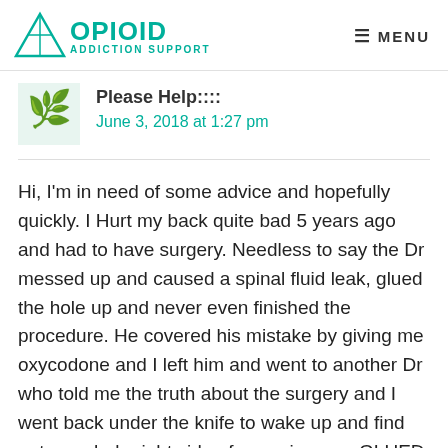OPIOID ADDICTION SUPPORT | MENU
Please Help::::
June 3, 2018 at 1:27 pm
Hi, I'm in need of some advice and hopefully quickly. I Hurt my back quite bad 5 years ago and had to have surgery. Needless to say the Dr messed up and caused a spinal fluid leak, glued the hole up and never even finished the procedure. He covered his mistake by giving me oxycodone and I left him and went to another Dr who told me the truth about the surgery and I went back under the knife to wake up and find out my whole right side of my spine was GLUED together and